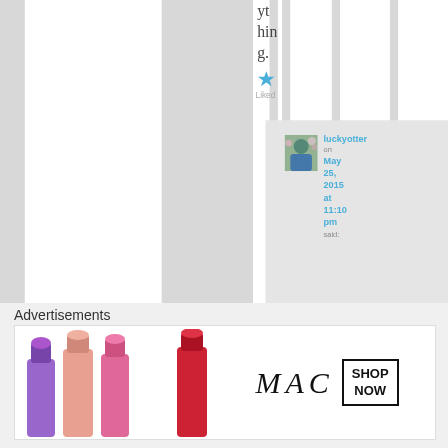ything.
[Figure (other): Blue star icon representing 'Liked']
Liked
[Figure (photo): Avatar photo of user luckyotter — person in blue top outdoors with flowers/trees]
luckyotter on May 25, 2015 at 11:10 pm said:
I t
[Figure (other): Close/dismiss button — circle with X]
Advertisements
[Figure (infographic): MAC Cosmetics advertisement banner with lipsticks (purple, peach, pink) on left and MAC logo with SHOP NOW box on right]